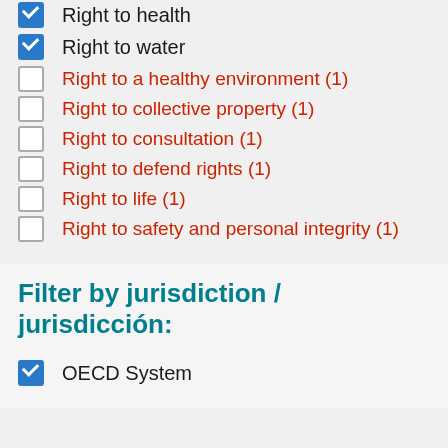Right to health (checked)
Right to water (checked)
Right to a healthy environment (1) (unchecked)
Right to collective property (1) (unchecked)
Right to consultation (1) (unchecked)
Right to defend rights (1) (unchecked)
Right to life (1) (unchecked)
Right to safety and personal integrity (1) (unchecked)
Filter by jurisdiction / jurisdicción:
OECD System (checked)